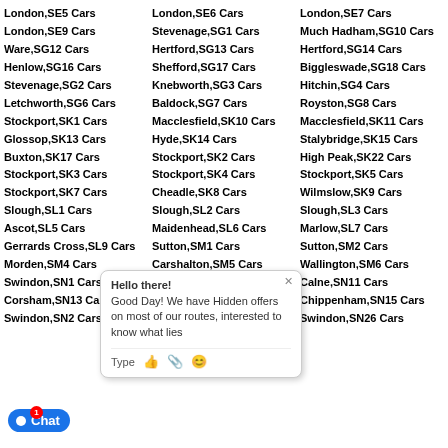London,SE5 Cars
London,SE6 Cars
London,SE7 Cars
London,SE9 Cars
Stevenage,SG1 Cars
Much Hadham,SG10 Cars
Ware,SG12 Cars
Hertford,SG13 Cars
Hertford,SG14 Cars
Henlow,SG16 Cars
Shefford,SG17 Cars
Biggleswade,SG18 Cars
Stevenage,SG2 Cars
Knebworth,SG3 Cars
Hitchin,SG4 Cars
Letchworth,SG6 Cars
Baldock,SG7 Cars
Royston,SG8 Cars
Stockport,SK1 Cars
Macclesfield,SK10 Cars
Macclesfield,SK11 Cars
Glossop,SK13 Cars
Hyde,SK14 Cars
Stalybridge,SK15 Cars
Buxton,SK17 Cars
Stockport,SK2 Cars
High Peak,SK22 Cars
Stockport,SK3 Cars
Stockport,SK4 Cars
Stockport,SK5 Cars
Stockport,SK7 Cars
Cheadle,SK8 Cars
Wilmslow,SK9 Cars
Slough,SL1 Cars
Slough,SL2 Cars
Slough,SL3 Cars
Ascot,SL5 Cars
Maidenhead,SL6 Cars
Marlow,SL7 Cars
Gerrards Cross,SL9 Cars
Sutton,SM1 Cars
Sutton,SM2 Cars
Morden,SM4 Cars
Carshalton,SM5 Cars
Wallington,SM6 Cars
Swindon,SN1 Cars
Devizes,SN10 Cars
Calne,SN11 Cars
Corsham,SN13 Cars
Chippenham,SN14 Cars
Chippenham,SN15 Cars
Swindon,SN2 Cars
Swindon,SN25 Cars
Swindon,SN26 Cars